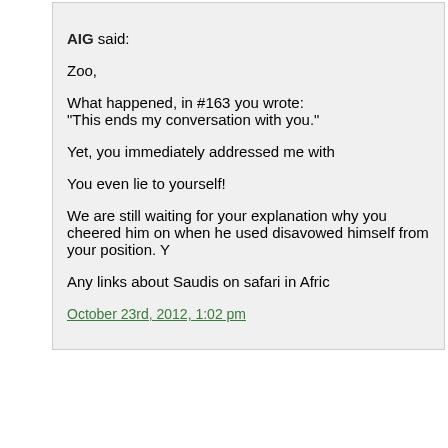AIG said:
Zoo,
What happened, in #163 you wrote:
“This ends my conversation with you.”
Yet, you immediately addressed me with
You even lie to yourself!
We are still waiting for your explanation why you cheered him on when he used disavowed himself from your position. Y
Any links about Saudis on safari in Afric
October 23rd, 2012, 1:02 pm
ZOO said:
AIG
Keep provoking…
October 23rd, 2012, 1:03 pm
ZOO said:
Tara
I did not have to twist my mind to find th